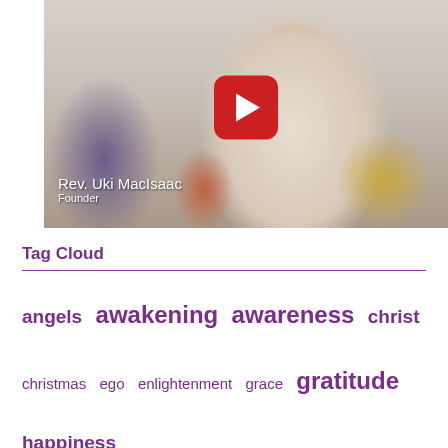[Figure (screenshot): YouTube video thumbnail showing Rev. Uki MacIsaac, Founder, seated on a couch. A red YouTube play button overlay is centered. Text caption in lower left reads 'Rev. Uki MacIsaac' and 'Founder'.]
Tag Cloud
angels awakening awareness christ christmas ego enlightenment grace gratitude happiness Harmony Grove